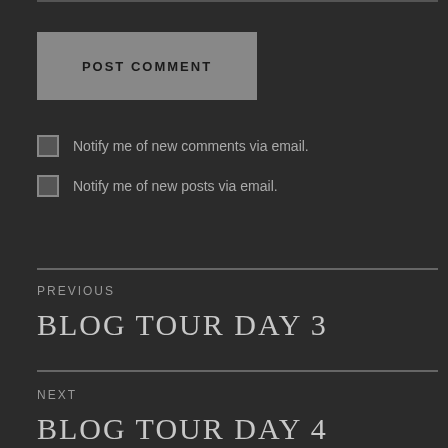POST COMMENT
Notify me of new comments via email.
Notify me of new posts via email.
PREVIOUS
BLOG TOUR DAY 3
NEXT
BLOG TOUR DAY 4